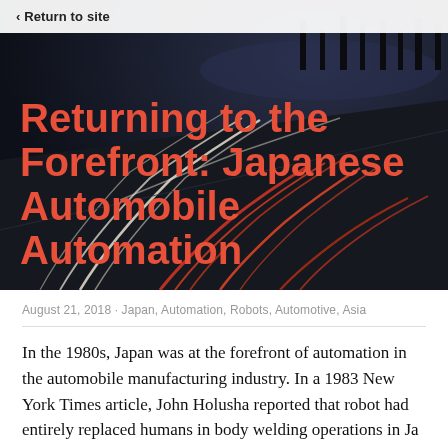[Figure (photo): Night highway with long-exposure light trails of cars, dark blue/purple sky, cityscape in background]
< Return to site
Returning to the Forefront: Japanese Automobile Automation
August 21, 2018 · Japan, Automation, Robots, Automotive, Asia
In the 1980s, Japan was at the forefront of automation in the automobile manufacturing industry. In a 1983 New York Times article, John Holusha reported that robot had entirely replaced humans in body welding operations in Japan